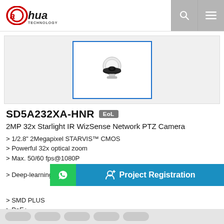[Figure (logo): Dahua Technology logo in red and black]
[Figure (photo): Dahua SD5A232XA-HNR PTZ dome camera product image on white background, shown in a blue-bordered selected thumbnail]
SD5A232XA-HNR EoL
2MP 32x Starlight IR WizSense Network PTZ Camera
> 1/2.8" 2Megapixel STARVIS™ CMOS
> Powerful 32x optical zoom
> Max. 50/60 fps@1080P
> IR distance up to 150 m
> Deep-learning-based auto tr...
> SMD PLUS
> PoE+
> IP67, IK10
> Face Detection
[Figure (other): Project Registration overlay button with WhatsApp icon (green) and user-plus icon (blue)]